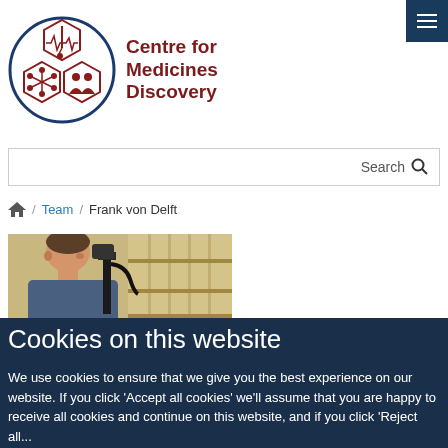[Figure (logo): Centre for Medicines Discovery logo: circular design with three hexagons containing lab/science icons, dark red and navy blue colors]
Centre for Medicines Discovery
Search
/ Team / Frank von Delft
[Figure (photo): Person looking through a microscope or scientific instrument in a laboratory setting]
Cookies on this website
We use cookies to ensure that we give you the best experience on our website. If you click 'Accept all cookies' we'll assume that you are happy to receive all cookies and continue on this website, and if you click 'Reject all...